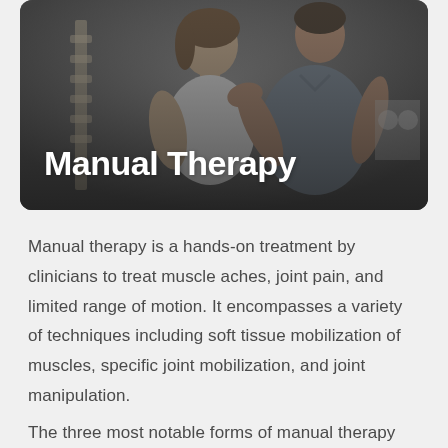[Figure (photo): A physical therapist performing manual therapy on a female patient's shoulder/arm. The therapist is male, wearing a grey polo shirt, standing behind the patient who is seated and wearing a white tank top. A spine model is visible in the background on the left. The image has a dark overlay. The title 'Manual Therapy' is overlaid in large white bold text at the bottom left of the image.]
Manual therapy is a hands-on treatment by clinicians to treat muscle aches, joint pain, and limited range of motion. It encompasses a variety of techniques including soft tissue mobilization of muscles, specific joint mobilization, and joint manipulation.
The three most notable forms of manual therapy